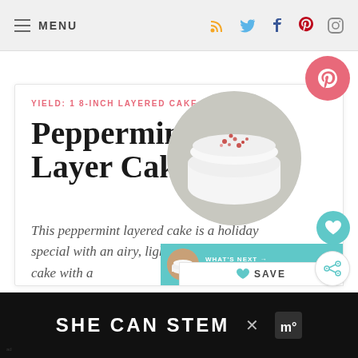MENU
YIELD: 1 8-INCH LAYERED CAKE
Peppermint Layer Cake
This peppermint layered cake is a holiday special with an airy, light peppermint crunch cake with a
[Figure (photo): Circular photo of a white peppermint layer cake with red sprinkles on top]
WHAT'S NEXT → Peppermint Chocolate...
♡ SAVE
SHE CAN STEM